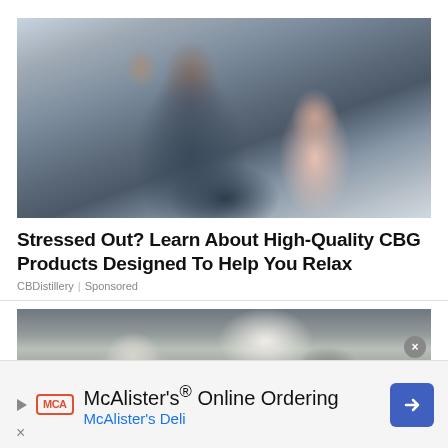[Figure (photo): Happy family photo: a man, a woman, and a child playing together on a couch, smiling and laughing]
Stressed Out? Learn About High-Quality CBG Products Designed To Help You Relax
CBDistillery | Sponsored
[Figure (photo): Wedding scene with flower girls wearing white floral crowns holding white bouquets]
McAlister's® Online Ordering
McAlister's Deli